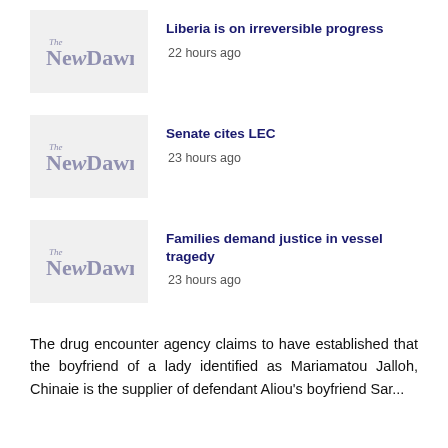[Figure (logo): The New Dawn newspaper logo placeholder thumbnail]
Liberia is on irreversible progress
22 hours ago
[Figure (logo): The New Dawn newspaper logo placeholder thumbnail]
Senate cites LEC
23 hours ago
[Figure (logo): The New Dawn newspaper logo placeholder thumbnail]
Families demand justice in vessel tragedy
23 hours ago
The drug encounter agency claims to have established that the boyfriend of a lady identified as Mariamatou Jalloh, Chinaie is the supplier of defendant Aliou's boyfriend Sar...